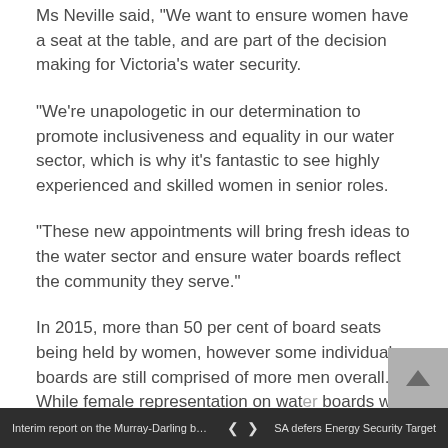Ms Neville said, "We want to ensure women have a seat at the table, and are part of the decision making for Victoria's water security.
“We’re unapologetic in our determination to promote inclusiveness and equality in our water sector, which is why it’s fantastic to see highly experienced and skilled women in senior roles.
“These new appointments will bring fresh ideas to the water sector and ensure water boards reflect the community they serve.”
In 2015, more than 50 per cent of board seats being held by women, however some individual boards are still comprised of more men overall. While female representation on water boards was as low as 38 per cent in 2014, appointments announced mean that the Victorian water sector now has:
Interim report on the Murray-Darling basi... ❮ ❯ SA defers Energy Security Target